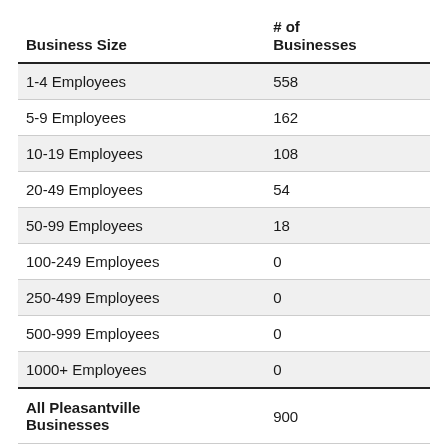| Business Size | # of Businesses |
| --- | --- |
| 1-4 Employees | 558 |
| 5-9 Employees | 162 |
| 10-19 Employees | 108 |
| 20-49 Employees | 54 |
| 50-99 Employees | 18 |
| 100-249 Employees | 0 |
| 250-499 Employees | 0 |
| 500-999 Employees | 0 |
| 1000+ Employees | 0 |
| All Pleasantville Businesses | 900 |